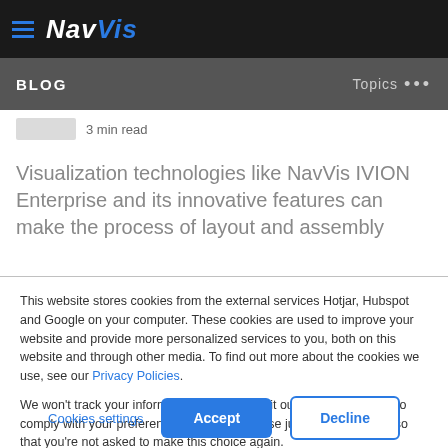NavVis
BLOG   Topics ...
3 min read
Visualization technologies like NavVis IVION Enterprise and its innovative features can make the process of layout and assembly
This website stores cookies from the external services Hotjar, Hubspot and Google on your computer. These cookies are used to improve your website and provide more personalized services to you, both on this website and through other media. To find out more about the cookies we use, see our Privacy Policies.

We won't track your information when you visit our site. But in order to comply with your preferences, we'll have to use just one tiny cookie so that you're not asked to make this choice again.
Cookies settings   Accept   Decline